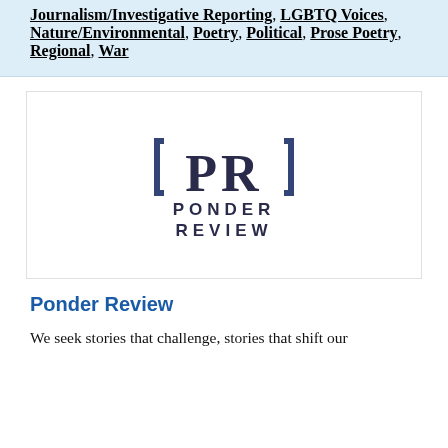Journalism/Investigative Reporting, LGBTQ Voices, Nature/Environmental, Poetry, Political, Prose Poetry, Regional, War
[Figure (logo): Ponder Review logo: bracketed [PR] above the text PONDER REVIEW in bold dark letters]
Ponder Review
We seek stories that challenge, stories that shift our